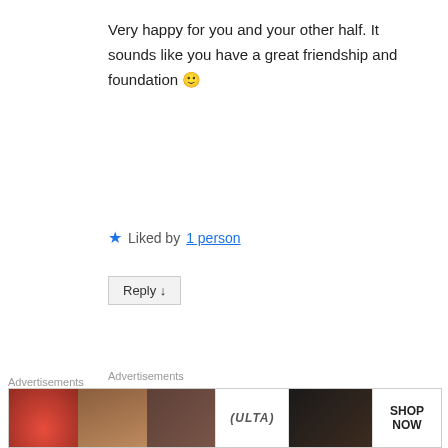Very happy for you and your other half. It sounds like you have a great friendship and foundation 🙂
★ Liked by 1 person
Reply ↓
Advertisements
[Figure (other): Jetpack advertisement banner on green background with circular design element. Text reads: Jetpack logo, The best real-time]
Advertisements
[Figure (other): Ulta Beauty advertisement strip showing makeup/beauty product images with ULTA logo and SHOP NOW button]